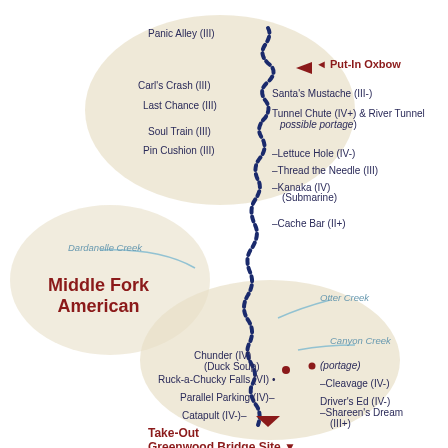[Figure (map): River map of Middle Fork American river showing rapids, put-in and take-out points, creeks, and difficulty ratings along a winding river course from Put-In Oxbow at top to Take-Out Greenwood Bridge Site at bottom.]